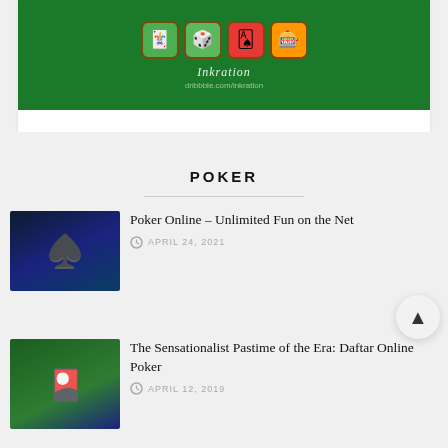[Figure (illustration): Green casino-themed banner with slot machine emoji buttons and 'Inkration' watermark text and 'dribbble.com/inkration' subtitle]
POKER
[Figure (photo): Group of men in formal wear around a poker table with chips]
Poker Online – Unlimited Fun on the Net
APRIL 24, 2021
[Figure (photo): Woman in red sitting at a casino/poker table with chips]
The Sensationalist Pastime of the Era: Daftar Online Poker
APRIL 12, 2019